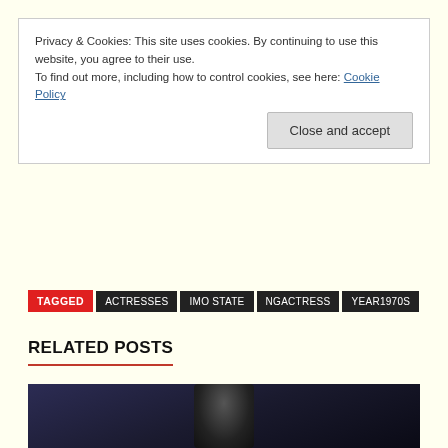Privacy & Cookies: This site uses cookies. By continuing to use this website, you agree to their use.
To find out more, including how to control cookies, see here: Cookie Policy
Close and accept
TAGGED  ACTRESSES  IMO STATE  NGACTRESS  YEAR1970S
RELATED POSTS
[Figure (photo): Dark photo of a person, partially visible at bottom of page]